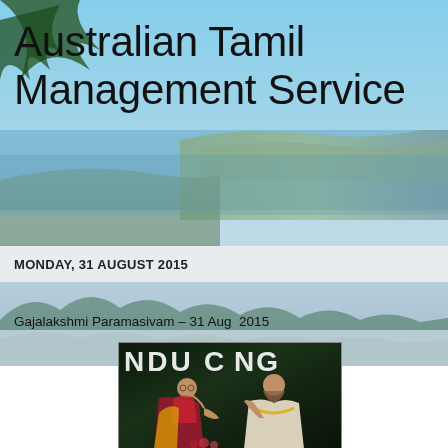[Figure (photo): Background image of Australian coastal landscape with blue sky, sea, and green vegetation]
Australian Tamil Management Service
MONDAY, 31 AUGUST 2015
Gajalakshmi Paramasivam – 31 Aug  2015
[Figure (photo): Photo of two men at a Hindu Congress event, one in Tibetan Buddhist monk robes (maroon and yellow) and one in a light beige shirt with yellow garland, appearing to greet each other]